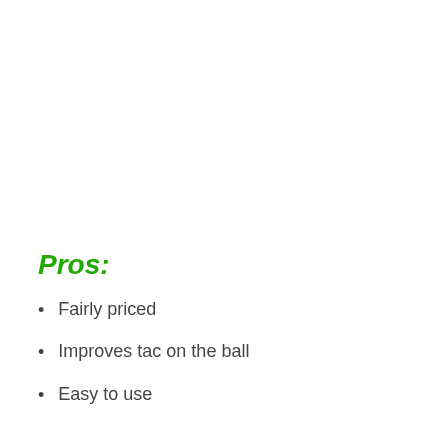Pros:
Fairly priced
Improves tac on the ball
Easy to use